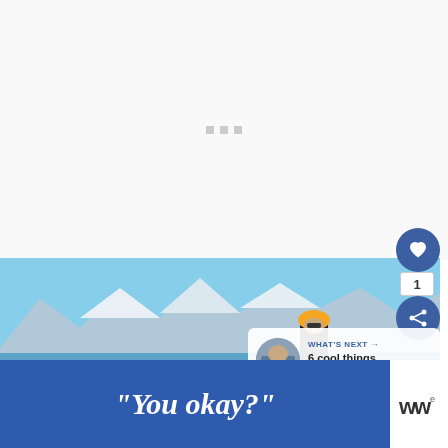[Figure (other): White/light gray loading area with three small gray square dots in the center, indicating a loading state]
[Figure (photo): Panoramic photo of snowy mountain peaks and a glacier lake with blue sky, a mountaineer wearing an orange helmet and black jacket in the foreground, with a 'WHAT'S NEXT' content recommendation overlay and social action buttons (heart, share, count badge)]
WHAT'S NEXT → 6 cool things to do on...
[Figure (screenshot): Blue advertisement banner with white italic bold text reading "You okay?" and a small logo area to the right with stylized text logo]